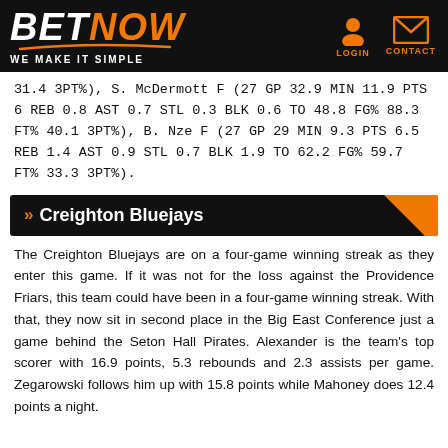BETNOW - WE MAKE IT SIMPLE
31.4 3PT%), S. McDermott F (27 GP 32.9 MIN 11.9 PTS 6 REB 0.8 AST 0.7 STL 0.3 BLK 0.6 TO 48.8 FG% 88.3 FT% 40.1 3PT%), B. Nze F (27 GP 29 MIN 9.3 PTS 6.5 REB 1.4 AST 0.9 STL 0.7 BLK 1.9 TO 62.2 FG% 59.7 FT% 33.3 3PT%).
» Creighton Bluejays
The Creighton Bluejays are on a four-game winning streak as they enter this game. If it was not for the loss against the Providence Friars, this team could have been in a four-game winning streak. With that, they now sit in second place in the Big East Conference just a game behind the Seton Hall Pirates. Alexander is the team's top scorer with 16.9 points, 5.3 rebounds and 2.3 assists per game. Zegarowski follows him up with 15.8 points while Mahoney does 12.4 points a night.